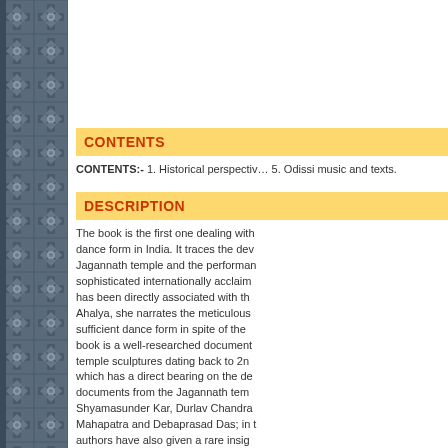[Figure (illustration): Decorative geometric pattern sidebar in dark slate blue/grey with repeating cross/flower motifs]
CONTENTS
CONTENTS:- 1. Historical perspective. 5. Odissi music and texts.
DESCRIPTION
The book is the first one dealing with dance form in India. It traces the development Jagannath temple and the performance sophisticated internationally acclaimed has been directly associated with the Ahalya, she narrates the meticulous sufficient dance form in spite of the book is a well-researched document temple sculptures dating back to 2nd which has a direct bearing on the de documents from the Jagannath temp Shyamasunder Kar, Durlav Chandra Mahapatra and Debaprasad Das; in t authors have also given a rare insigh century to the poets of the medieval contributed to the enrichment of inte depicting the evolution of Odissi cos the book has some rare documents p